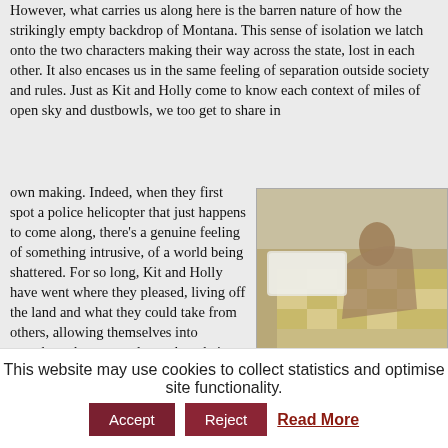However, what carries us along here is the barren nature of how the strikingly empty backdrop of Montana. This sense of isolation we latch onto the two characters making their way across the state, lost in each other. It also encases us in the same feeling of separation outside society and rules. Just as Kit and Holly come to know each context of miles of open sky and dustbowls, we too get to share in own making. Indeed, when they first spot a police helicopter that just happens to come along, there's a genuine feeling of something intrusive, of a world being shattered. For so long, Kit and Holly have went where they pleased, living off the land and what they could take from others, allowing themselves into anywhere they wanted, so when their world's now the one being invaded, it feels like something interrupted.
[Figure (photo): A photo showing a person lying on a yellow and white checkered bed/blanket, partially visible on the right side of the page.]
This website may use cookies to collect statistics and optimise site functionality.